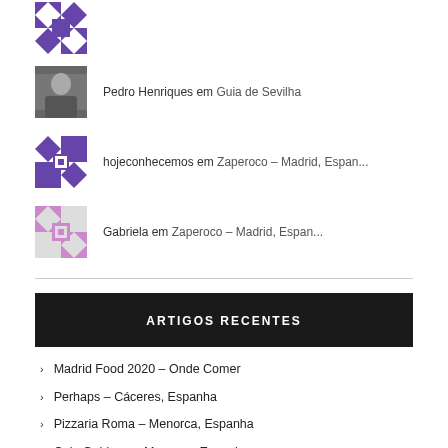Pedro Henriques em Guia de Sevilha
hojeconhecemos em Zaperoco – Madrid, Espan...
Gabriela em Zaperoco – Madrid, Espan...
ARTIGOS RECENTES
Madrid Food 2020 – Onde Comer
Perhaps – Cáceres, Espanha
Pizzaria Roma – Menorca, Espanha
Cala Galdana – Menorca, Espanha
Cantinho do Avillez – Cascais, Portugal